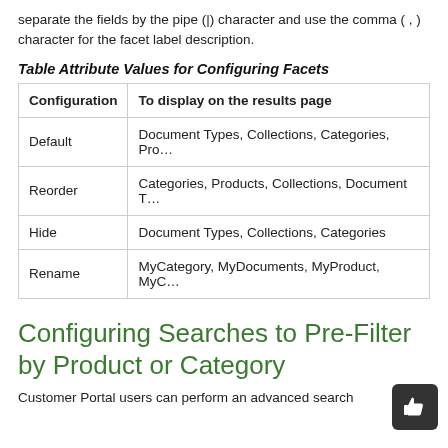separate the fields by the pipe (|) character and use the comma ( , ) character for the facet label description.
Table Attribute Values for Configuring Facets
| Configuration | To display on the results page |
| --- | --- |
| Default | Document Types, Collections, Categories, Pro… |
| Reorder | Categories, Products, Collections, Document T… |
| Hide | Document Types, Collections, Categories |
| Rename | MyCategory, MyDocuments, MyProduct, MyC… |
Configuring Searches to Pre-Filter by Product or Category
Customer Portal users can perform an advanced search